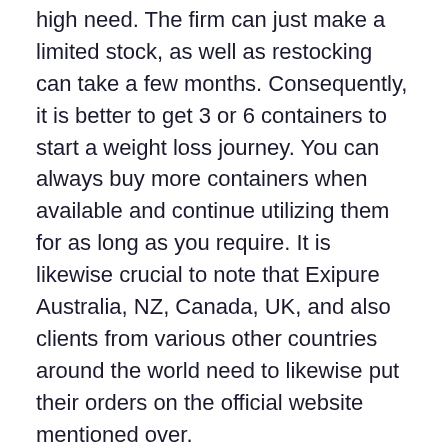high need. The firm can just make a limited stock, as well as restocking can take a few months. Consequently, it is better to get 3 or 6 containers to start a weight loss journey. You can always buy more containers when available and continue utilizing them for as long as you require. It is likewise crucial to note that Exipure Australia, NZ, Canada, UK, and also clients from various other countries around the world need to likewise put their orders on the official website mentioned over.
Exipure Refund Policy.
Exipure features a 100% contentment warranty as the firm prepares to refund the full order value, if this item falls short to fulfill your expectations. the...